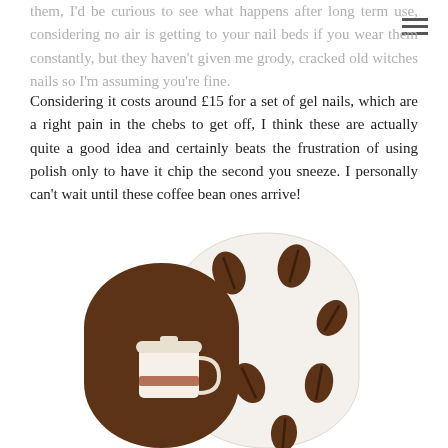them, I'd be curious to see what happens after long term use, considering no air is getting to your nail beds if you wear them constantly, but they haven't given me grody, cracked old witches nails so I'm assuming you're fine.
Considering it costs around £15 for a set of gel nails, which are a right pain in the chebs to get off, I think these are actually quite a good idea and certainly beats the frustration of using polish only to have it chip the second you sneeze. I personally can't wait until these coffee bean ones arrive!
[Figure (illustration): Illustration of two nail-shaped designs: one solid brown with a coffee cup graphic, one white with brown coffee bean pattern]